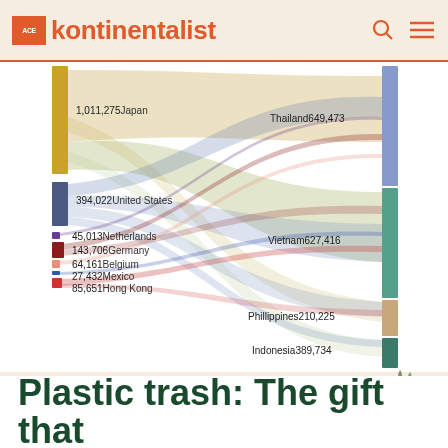kontinentalist
[Figure (other): Sankey/alluvial flow diagram showing plastic waste exports (left side: Japan 1,011,275; United States 394,022; Netherlands 45,013; Germany 143,706; Belgium 64,161; Mexico 27,432; Hong Kong 85,651) flowing to receiving countries (right side: Thailand 649,473; Vietnam 627,416; Phillippines 210,225; Indonesia 389,734)]
Source: International Trade Centre, CEOWorld Magazine, Our World in Data
Plastic trash: The gift that